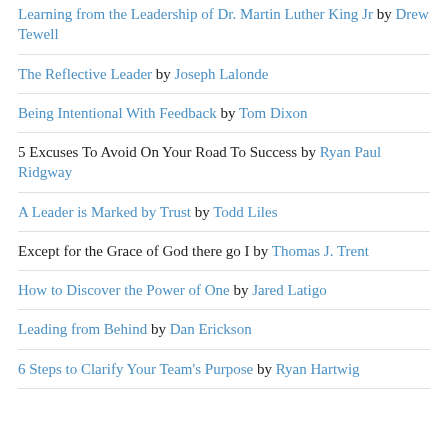Learning from the Leadership of Dr. Martin Luther King Jr by Drew Tewell
The Reflective Leader by Joseph Lalonde
Being Intentional With Feedback by Tom Dixon
5 Excuses To Avoid On Your Road To Success by Ryan Paul Ridgway
A Leader is Marked by Trust by Todd Liles
Except for the Grace of God there go I by Thomas J. Trent
How to Discover the Power of One by Jared Latigo
Leading from Behind by Dan Erickson
6 Steps to Clarify Your Team's Purpose by Ryan Hartwig